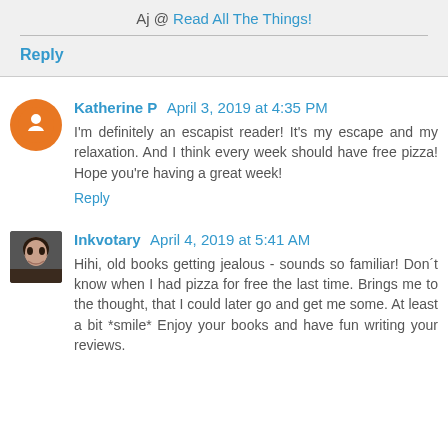Aj @ Read All The Things!
Reply
Katherine P  April 3, 2019 at 4:35 PM
I'm definitely an escapist reader! It's my escape and my relaxation. And I think every week should have free pizza! Hope you're having a great week!
Reply
Inkvotary  April 4, 2019 at 5:41 AM
Hihi, old books getting jealous - sounds so familiar! Don't know when I had pizza for free the last time. Brings me to the thought, that I could later go and get me some. At least a bit *smile* Enjoy your books and have fun writing your reviews.